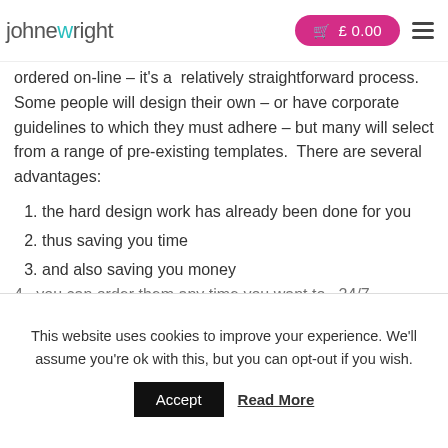johnewright  £ 0.00
ordered on-line – it's a relatively straightforward process.  Some people will design their own – or have corporate guidelines to which they must adhere – but many will select from a range of pre-existing templates.  There are several advantages:
1. the hard design work has already been done for you
2. thus saving you time
3. and also saving you money
4. you can order them any time you want to, 24/7
This website uses cookies to improve your experience. We'll assume you're ok with this, but you can opt-out if you wish.